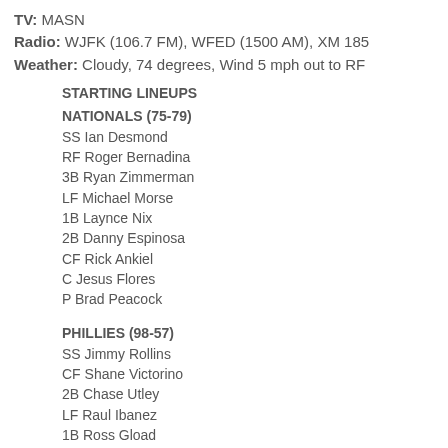TV: MASN
Radio: WJFK (106.7 FM), WFED (1500 AM), XM 185
Weather: Cloudy, 74 degrees, Wind 5 mph out to RF
STARTING LINEUPS
NATIONALS (75-79)
SS Ian Desmond
RF Roger Bernadina
3B Ryan Zimmerman
LF Michael Morse
1B Laynce Nix
2B Danny Espinosa
CF Rick Ankiel
C Jesus Flores
P Brad Peacock
PHILLIES (98-57)
SS Jimmy Rollins
CF Shane Victorino
2B Chase Utley
LF Raul Ibanez
1B Ross Gload